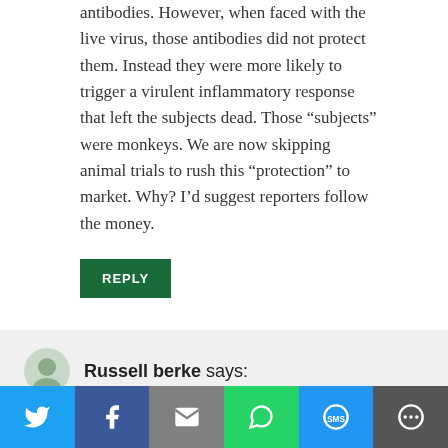antibodies. However, when faced with the live virus, those antibodies did not protect them. Instead they were more likely to trigger a virulent inflammatory response that left the subjects dead. Those “subjects” were monkeys. We are now skipping animal trials to rush this “protection” to market. Why? I’d suggest reporters follow the money.
REPLY
Russell berke says:
Four “months” of coronavirus killed 100,000 Americans . Four “years” of World War II killed 400,000 Americans .